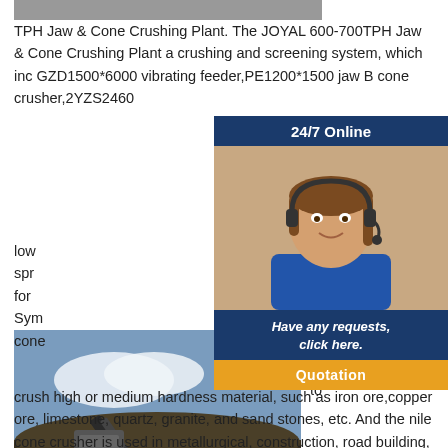[Figure (photo): Industrial crushing plant equipment photo at top]
TPH Jaw & Cone Crushing Plant. The JOYAL 600-700TPH Jaw & Cone Crushing Plant a crushing and screening system, which inc GZD1500*6000 vibrating feeder,PE1200*1500 jaw B cone crusher,2YZS2460
[Figure (photo): Mining/crushing site with conveyor belt and stockpile, Email:lmzgvip@gmail.com watermark]
[Figure (other): 24/7 Online chat widget with woman wearing headset, 'Have any requests, click here.' and Quotation button]
low spr for Sym cone ymons cone crusher has been developed to crush high or medium hardness material, such as iron ore,copper ore, limestone, quartz, granite, and sand stones, etc. And the nile cone crusher is used in metallurgical, construction, road building, chemical, silicate Industries.